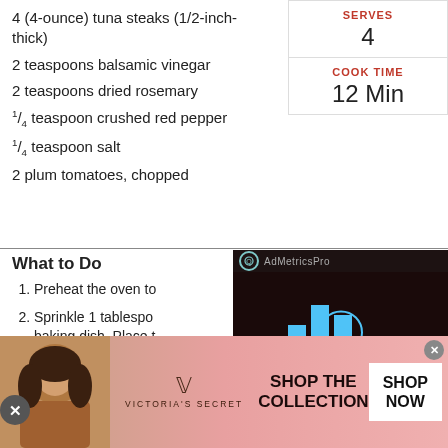4 (4-ounce) tuna steaks (1/2-inch-thick)
2 teaspoons balsamic vinegar
2 teaspoons dried rosemary
1/4 teaspoon crushed red pepper
1/4 teaspoon salt
2 plum tomatoes, chopped
| SERVES | COOK TIME |
| --- | --- |
| 4 | 12 Min |
What to Do
1. Preheat the oven to
2. Sprinkle 1 tablespoon … baking dish. Place t… with the remaining 1… vinegar. Sprinkle the…
[Figure (screenshot): AdMetricsPro video overlay showing a Mr. Food Test Kitchen branded video player with play button, mute button, and logo]
[Figure (infographic): Green email subscription bar: FREE! The Best Free, Delicious Recipes in Your Email.]
[Figure (infographic): Victoria's Secret advertisement banner with model, VS logo, SHOP THE COLLECTION text, and SHOP NOW button]